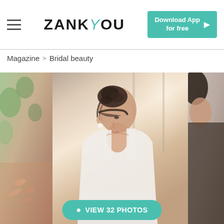ZANK YOU — Download App for free
Magazine > Bridal beauty
[Figure (photo): Three overlapping photos of bridal beauty: left photo shows hands working on hair/accessories with greenery background; center photo shows a bride from behind with an elegant updo hairstyle and pearl earring, wearing a white lace-back dress; right photo is partially visible showing another person.]
VIEW 32 PHOTOS